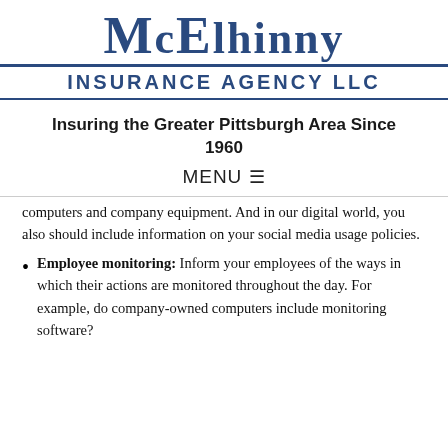[Figure (logo): McElhinny Insurance Agency LLC logo with large serif text and underline]
Insuring the Greater Pittsburgh Area Since 1960
MENU ☰
computers and company equipment. And in our digital world, you also should include information on your social media usage policies.
Employee monitoring: Inform your employees of the ways in which their actions are monitored throughout the day. For example, do company-owned computers include monitoring software?